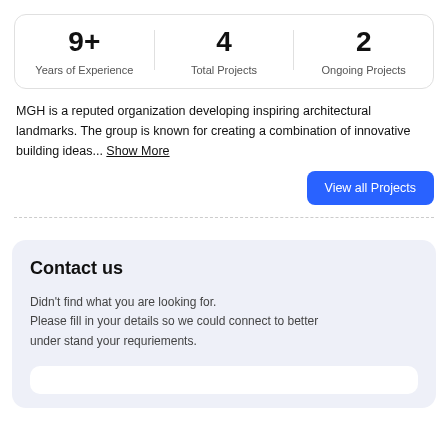| 9+
Years of Experience | 4
Total Projects | 2
Ongoing Projects |
| --- | --- | --- |
MGH is a reputed organization developing inspiring architectural landmarks. The group is known for creating a combination of innovative building ideas... Show More
View all Projects
Contact us
Didn't find what you are looking for.
Please fill in your details so we could connect to better under stand your requriements.